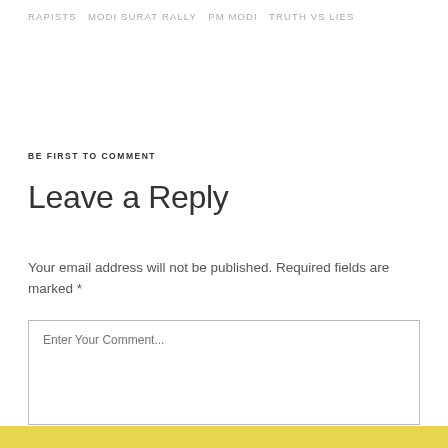RAPISTS  MODI SURAT RALLY  PM MODI  TRUTH VS LIES
BE FIRST TO COMMENT
Leave a Reply
Your email address will not be published. Required fields are marked *
Enter Your Comment...